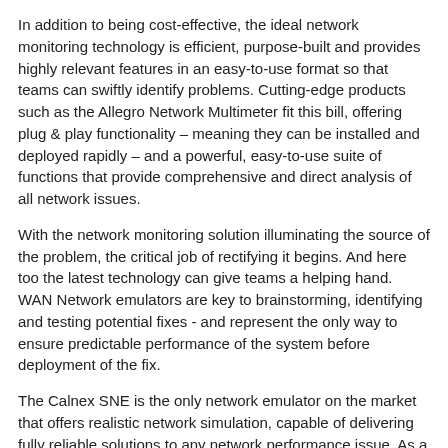In addition to being cost-effective, the ideal network monitoring technology is efficient, purpose-built and provides highly relevant features in an easy-to-use format so that teams can swiftly identify problems. Cutting-edge products such as the Allegro Network Multimeter fit this bill, offering plug & play functionality – meaning they can be installed and deployed rapidly – and a powerful, easy-to-use suite of functions that provide comprehensive and direct analysis of all network issues.
With the network monitoring solution illuminating the source of the problem, the critical job of rectifying it begins. And here too the latest technology can give teams a helping hand. WAN Network emulators are key to brainstorming, identifying and testing potential fixes - and represent the only way to ensure predictable performance of the system before deployment of the fix.
The Calnex SNE is the only network emulator on the market that offers realistic network simulation, capable of delivering fully reliable solutions to any network performance issue. As a network in a box, the cost-effective Calnex SNE simulates the real-world conditions under which existing applications perform, allowing network teams to experiment in a safe, controlled and repeatable lab setting, and continuously develop and test various novel solutions to their network issues until they find the optimal one. Given the perfect simulation of their real-world network provided by the Calnex SNE, network teams can be confident when applying the resulting fix that it will work.
Another problem experience aimed at a direct connectivity...